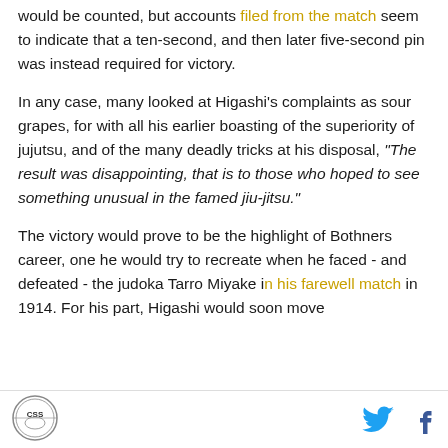would be counted, but accounts filed from the match seem to indicate that a ten-second, and then later five-second pin was instead required for victory.
In any case, many looked at Higashi's complaints as sour grapes, for with all his earlier boasting of the superiority of jujutsu, and of the many deadly tricks at his disposal, "The result was disappointing, that is to those who hoped to see something unusual in the famed jiu-jitsu."
The victory would prove to be the highlight of Bothners career, one he would try to recreate when he faced - and defeated - the judoka Tarro Miyake in his farewell match in 1914. For his part, Higashi would soon move
[Figure (logo): Circular logo with text CSS and a globe/shield design]